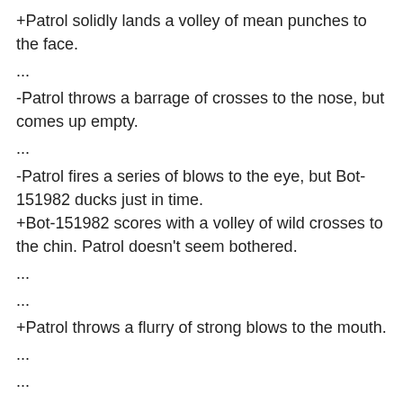+Patrol solidly lands a volley of mean punches to the face.
...
-Patrol throws a barrage of crosses to the nose, but comes up empty.
...
-Patrol fires a series of blows to the eye, but Bot-151982 ducks just in time.
+Bot-151982 scores with a volley of wild crosses to the chin. Patrol doesn't seem bothered.
...
...
+Patrol throws a flurry of strong blows to the mouth.
...
...
...
...
...
...
...